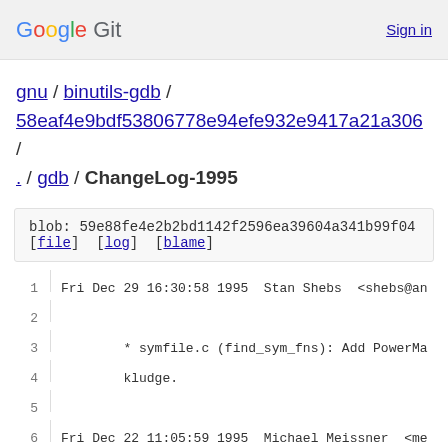Google Git   Sign in
gnu / binutils-gdb / 58eaf4e9bdf53806778e94efe932e9417a21a306 / . / gdb / ChangeLog-1995
blob: 59e88fe4e2b2bd1142f2596ea39604a341b99f04
[file] [log] [blame]
1  Fri Dec 29 16:30:58 1995  Stan Shebs  <shebs@an
2
3          * symfile.c (find_sym_fns): Add PowerMa
4          kludge.
5
6  Fri Dec 22 11:05:59 1995  Michael Meissner  <me
7
8          * configure.in (gdb_host): Add support
9          a host.
10         (all_x86_targets_and_hosts): Add suppor